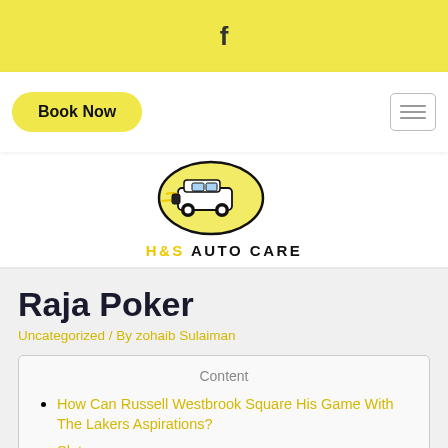f (Facebook icon)
Book Now
[Figure (logo): H&S Auto Care logo with a van inside an oval shape and text 'H&S AUTO CARE' below]
Raja Poker
Uncategorized / By zohaib Sulaiman
Content
How Can Russell Westbrook Square His Game With The Lakers Aspirations?
Slots